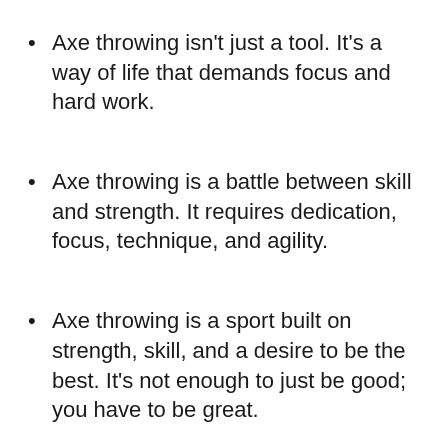Axe throwing isn't just a tool. It's a way of life that demands focus and hard work.
Axe throwing is a battle between skill and strength. It requires dedication, focus, technique, and agility.
Axe throwing is a sport built on strength, skill, and a desire to be the best. It's not enough to just be good; you have to be great.